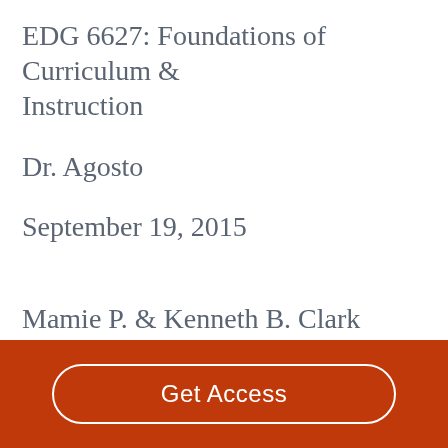EDG 6627: Foundations of Curriculum & Instruction
Dr. Agosto
September 19, 2015
Mamie P. & Kenneth B. Clark
Get Access